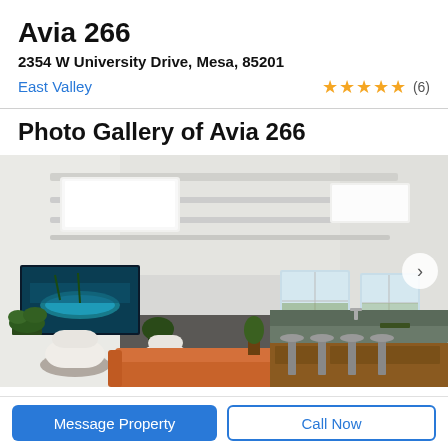Avia 266
2354 W University Drive, Mesa, 85201
East Valley
★★★★★ (6)
Photo Gallery of Avia 266
[Figure (photo): Interior photo of a modern apartment community clubhouse/lounge area showing high ceilings with skylights, a large TV mounted on white wall, modern white chairs, orange sofa, bar stools, kitchen counter area, and windows overlooking greenery.]
Message Property
Call Now